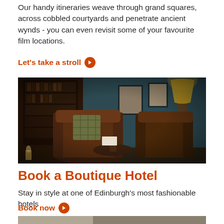Our handy itineraries weave through grand squares, across cobbled courtyards and penetrate ancient wynds - you can even revisit some of your favourite film locations.
Let's take a stroll ▶
[Figure (photo): Interior of a dark, cosy Edinburgh boutique hotel bar/lounge with leather armchairs, tartan cushions, wooden furniture, bookshelves, framed pictures, and a lamp.]
Book a Boutique Hotel
Stay in style at one of Edinburgh's most fashionable hotels
Book now ▶
[Figure (photo): Partial view of another photo below, cropped at bottom of page.]